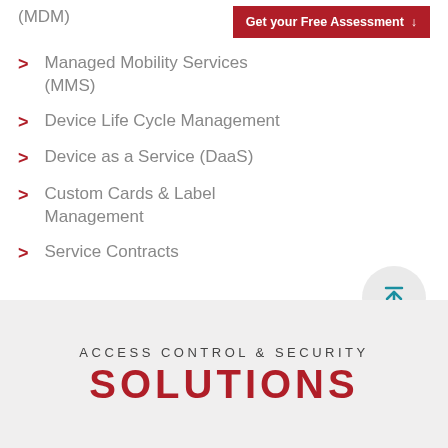(MDM)
Managed Mobility Services (MMS)
Device Life Cycle Management
Device as a Service (DaaS)
Custom Cards & Label Management
Service Contracts
ACCESS CONTROL & SECURITY
SOLUTIONS